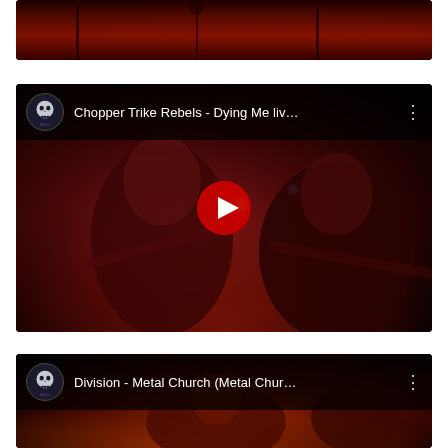[Figure (screenshot): Top portion of a YouTube video thumbnail showing a live concert scene with red stage lighting, musicians on stage, dark background.]
[Figure (screenshot): YouTube video embed/thumbnail for 'Chopper Trike Rebels - Dying Me liv...' showing two guitarists performing on stage under red and green stage lights, with a YouTube play button overlay and channel icon (skull logo) in the top left.]
[Figure (screenshot): YouTube video embed/thumbnail for 'Division - Metal Church (Metal Chur...' showing performers on stage under red/orange lighting, with channel icon (skull logo) and three-dot menu in header.]